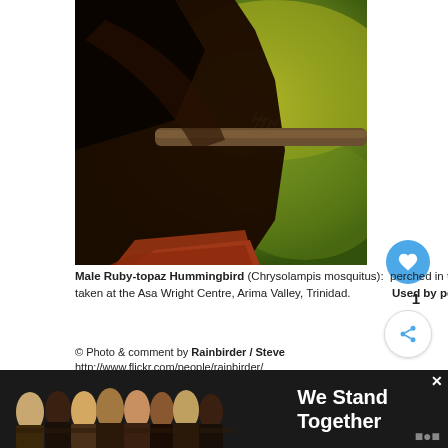[Figure (photo): Close-up photo of a Male Ruby-topaz Hummingbird perched on a branch, showing dark body and rufous tail feathers against a green/yellow background. Bird is perched in shade with little colour visible.]
Male Ruby-topaz Hummingbird (Chrysolampis mosquitus):  perched in the shade and showing very little colour. Image taken at the Asa Wright Centre, Arima Valley, Trinidad.    Used by permission
© Photo & comment by Rainbirder / Steve http://www.flickr.com/people/rainbirder/
[Figure (photo): Advertisement banner showing a group of people with arms around each other viewed from behind, with text 'We Stand Together' on a dark background with 'W' logo.]